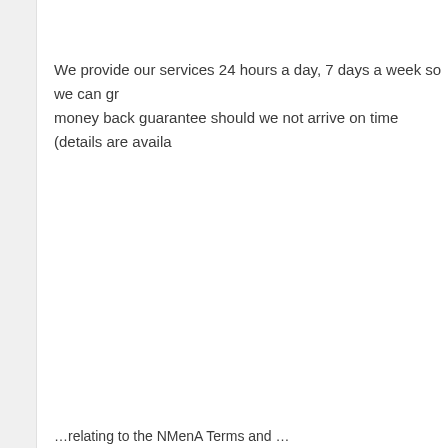We provide our services 24 hours a day, 7 days a week so we can gr... money back guarantee should we not arrive on time (details are availa...
...relating to the NMenA Terms and ...